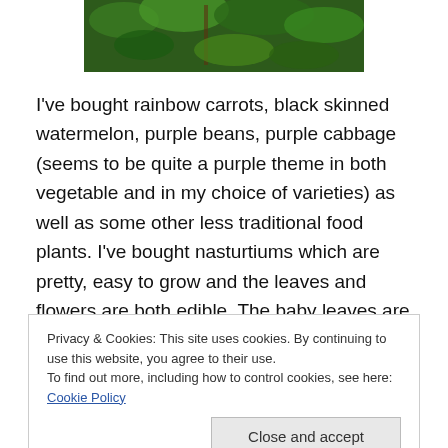[Figure (photo): Partial view of green garden/grass photo at top of page]
I've bought rainbow carrots, black skinned watermelon, purple beans, purple cabbage (seems to be quite a purple theme in both vegetable and in my choice of varieties) as well as some other less traditional food plants. I've bought nasturtiums which are pretty, easy to grow and the leaves and flowers are both edible. The baby leaves are quite nice, albeit spicy as I remember from picking through my grandmothers garden but I think the larger leaves were a bit too bitter for me as a child. I thought the children would
Privacy & Cookies: This site uses cookies. By continuing to use this website, you agree to their use.
To find out more, including how to control cookies, see here: Cookie Policy
can be harvested and used as a coffee substitute.